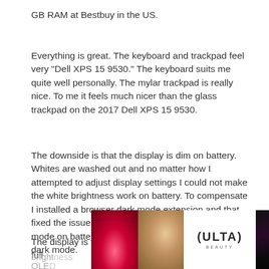GB RAM at Bestbuy in the US.
Everything is great. The keyboard and trackpad feel very "Dell XPS 15 9530." The keyboard suits me quite well personally. The mylar trackpad is really nice. To me it feels much nicer than the glass trackpad on the 2017 Dell XPS 15 9530.
The downside is that the display is dim on battery. Whites are washed out and no matter how I attempted to adjust display settings I could not make the white brightness work on battery. To compensate I installed a browser dark mode extension and that fixed the issue of eye strain using the browser in light mode on battery. I also switched the OS and Office to dark mode.
The display is fine when the unit is plugged in. At full bright... QLED... by is.
[Figure (advertisement): ULTA beauty advertisement banner with makeup photos and 'SHOP NOW' text]